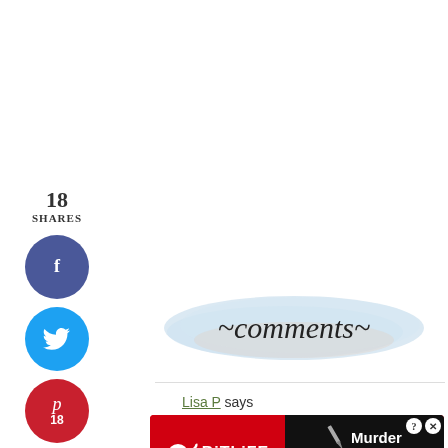18
SHARES
[Figure (illustration): Social share sidebar with Facebook (dark blue circle), Twitter (cyan circle), Pinterest (red circle with 18), and Yum (orange circle) buttons]
[Figure (illustration): Decorative 'comments' text in cursive script on a light blue watercolor brush stroke background]
Lisa P says
August 16, 2013 at 10:03 am
I think most diseases and ailments are related to our diet, so I would think Alzheimer's is probably related to our diet as well. I try to eat food th... p...
[Figure (illustration): BitLife advertisement banner with red background, sperm logo, Murder/Do it! call to action in black and blue sections]